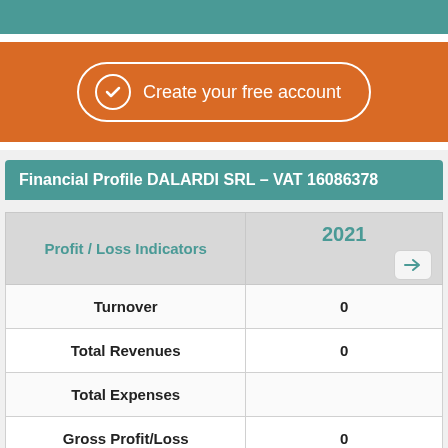[Figure (screenshot): Teal top bar]
Create your free account
Financial Profile DALARDI SRL - VAT 16086378
| Profit / Loss Indicators | 2021 |
| --- | --- |
| Turnover | 0 |
| Total Revenues | 0 |
| Total Expenses |  |
| Gross Profit/Loss | 0 |